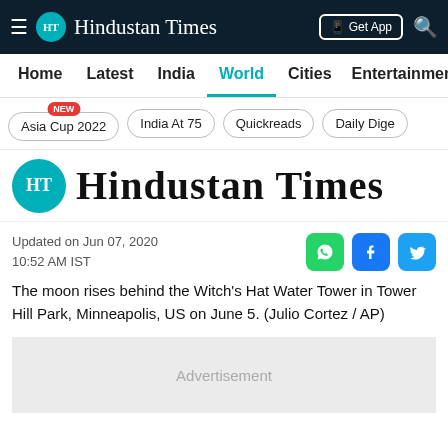Hindustan Times
Home | Latest | India | World | Cities | Entertainment
Asia Cup 2022 NEW | India At 75 | Quickreads | Daily Dige
[Figure (logo): Hindustan Times large logo with teal HT circle and blackletter text]
Updated on Jun 07, 2020
10:52 AM IST
The moon rises behind the Witch's Hat Water Tower in Tower Hill Park, Minneapolis, US on June 5. (Julio Cortez / AP)
Advertisement